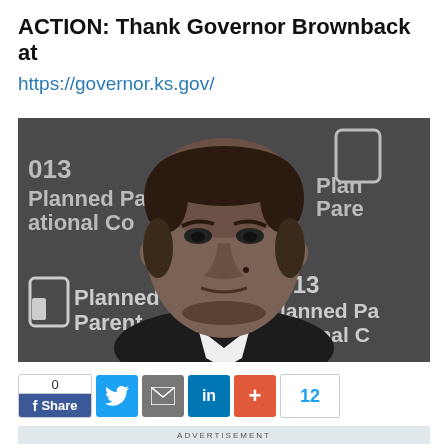ACTION: Thank Governor Brownback at
https://governor.ks.gov/
[Figure (photo): Black and white photo of a man in a suit at a 2013 Planned Parenthood National Conference event, with Planned Parenthood logos visible in the background.]
0  Share  [Twitter] [Email] [LinkedIn] [+]  12
ADVERTISEMENT